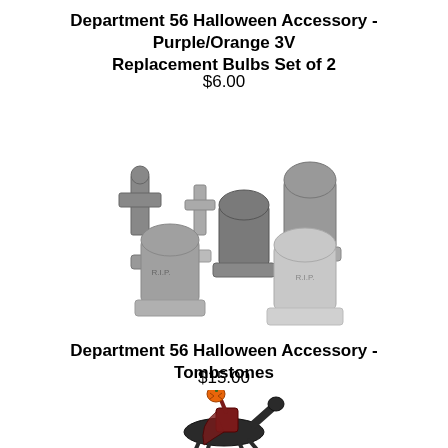Department 56 Halloween Accessory - Purple/Orange 3V Replacement Bulbs Set of 2
$6.00
[Figure (photo): Group of miniature Halloween tombstones in grey stone appearance, including cross shapes and RIP markers]
Department 56 Halloween Accessory - Tombstones
$15.00
[Figure (photo): Miniature Headless Horseman figurine on a dark horse, holding an orange pumpkin aloft, wearing a red cape]